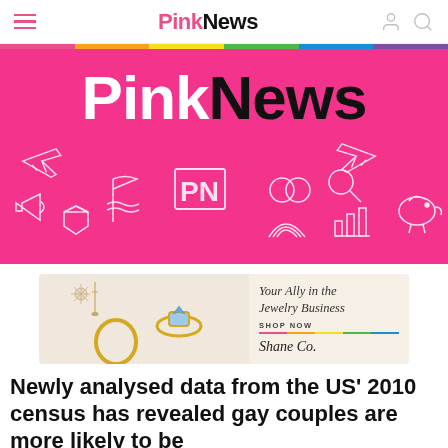PinkNews
[Figure (logo): PinkNews hero banner with pink background and decorative white outline icons (airplane, flag, PN letters, rings, magnifier, rainbow, piggy bank, diamond, megaphone, bar chart)]
[Figure (other): Shane Co jewelry advertisement showing gold rings and star earrings on cream background with text 'Your Ally in the Jewelry Business SHOP NOW Shane Co.']
Newly analysed data from the US' 2010 census has revealed gay couples are more likely to be